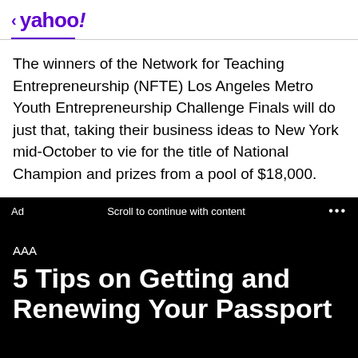< yahoo!
The winners of the Network for Teaching Entrepreneurship (NFTE) Los Angeles Metro Youth Entrepreneurship Challenge Finals will do just that, taking their business ideas to New York mid-October to vie for the title of National Champion and prizes from a pool of $18,000.
Ad   Scroll to continue with content   ...
AAA
5 Tips on Getting and Renewing Your Passport